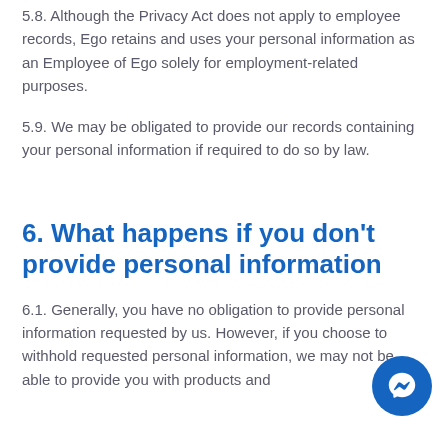5.8. Although the Privacy Act does not apply to employee records, Ego retains and uses your personal information as an Employee of Ego solely for employment-related purposes.
5.9. We may be obligated to provide our records containing your personal information if required to do so by law.
6. What happens if you don't provide personal information
6.1. Generally, you have no obligation to provide personal information requested by us. However, if you choose to withhold requested personal information, we may not be able to provide you with products and